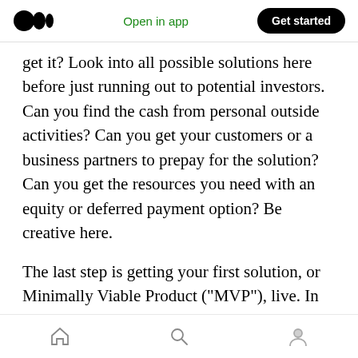Medium logo | Open in app | Get started
get it? Look into all possible solutions here before just running out to potential investors. Can you find the cash from personal outside activities? Can you get your customers or a business partners to prepay for the solution? Can you get the resources you need with an equity or deferred payment option? Be creative here.
The last step is getting your first solution, or Minimally Viable Product (“MVP”), live. In the business plan process you should know what it is going to take for this to happen. Work through the checklist you prepared and get to work
Home | Search | Profile